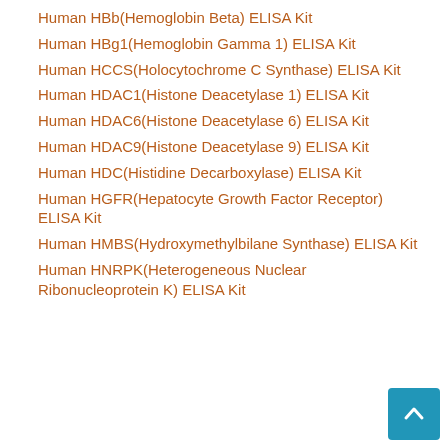Human HBb(Hemoglobin Beta) ELISA Kit
Human HBg1(Hemoglobin Gamma 1) ELISA Kit
Human HCCS(Holocytochrome C Synthase) ELISA Kit
Human HDAC1(Histone Deacetylase 1) ELISA Kit
Human HDAC6(Histone Deacetylase 6) ELISA Kit
Human HDAC9(Histone Deacetylase 9) ELISA Kit
Human HDC(Histidine Decarboxylase) ELISA Kit
Human HGFR(Hepatocyte Growth Factor Receptor) ELISA Kit
Human HMBS(Hydroxymethylbilane Synthase) ELISA Kit
Human HNRPK(Heterogeneous Nuclear Ribonucleoprotein K) ELISA Kit